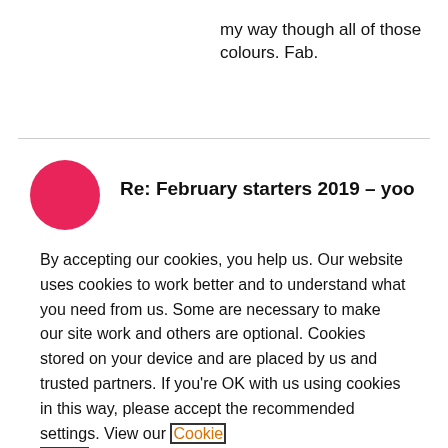my way though all of those colours. Fab.
Re: February starters 2019 – yoo
By accepting our cookies, you help us. Our website uses cookies to work better and to understand what you need from us. Some are necessary to make our site work and others are optional. Cookies stored on your device and are placed by us and trusted partners. If you're OK with us using cookies in this way, please accept the recommended settings. View our Cookie Policy
Manage My Settings
Reject All
Accept All Cookies